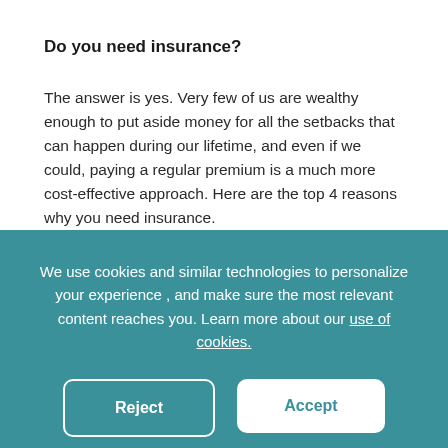Do you need insurance?
The answer is yes. Very few of us are wealthy enough to put aside money for all the setbacks that can happen during our lifetime, and even if we could, paying a regular premium is a much more cost-effective approach. Here are the top 4 reasons why you need insurance.
We use cookies and similar technologies to personalize your experience , and make sure the most relevant content reaches you. Learn more about our use of cookies.
Reject
Accept